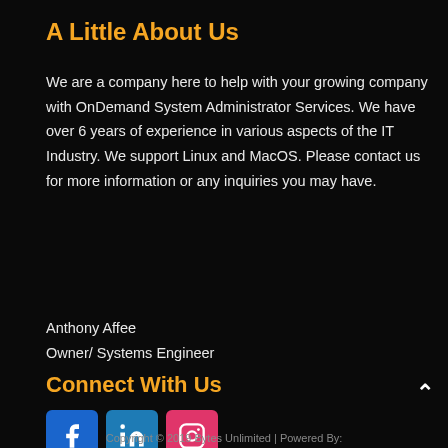A Little About Us
We are a company here to help with your growing company with OnDemand System Administrator Services. We have over 6 years of experience in various aspects of the IT Industry. We support Linux and MacOS. Please contact us for more information or any inquiries you may have.
Anthony Affee
Owner/ Systems Engineer
Connect With Us
[Figure (other): Social media icons: Facebook (blue), LinkedIn (blue), Instagram (pink/red)]
Copyright © 2019 Bytes Unlimited | Powered By: